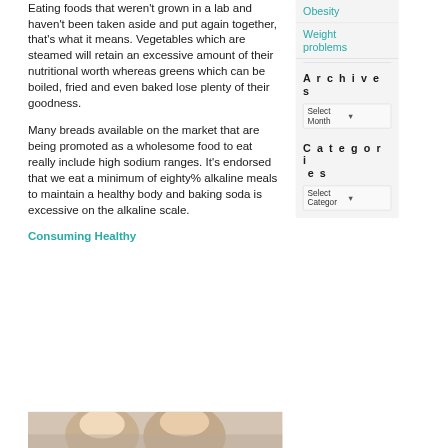Eating foods that weren't grown in a lab and haven't been taken aside and put again together, that's what it means. Vegetables which are steamed will retain an excessive amount of their nutritional worth whereas greens which can be boiled, fried and even baked lose plenty of their goodness.
Many breads available on the market that are being promoted as a wholesome food to eat really include high sodium ranges. It's endorsed that we eat a minimum of eighty% alkaline meals to maintain a healthy body and baking soda is excessive on the alkaline scale.
Consuming Healthy
[Figure (photo): Photo of a smiling person, cropped at bottom of page]
Obesity
Weight problems
Archives
Select Month
Categories
Select Category